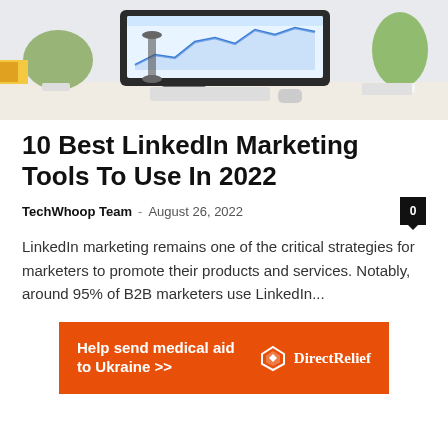[Figure (photo): Hero photo of a modern desk setup with an iMac displaying a blue chart, white plant pots with green plants, a keyboard, and office accessories on a white desk.]
10 Best LinkedIn Marketing Tools To Use In 2022
TechWhoop Team  -  August 26, 2022   0
LinkedIn marketing remains one of the critical strategies for marketers to promote their products and services. Notably, around 95% of B2B marketers use LinkedIn...
[Figure (infographic): Orange advertisement banner reading 'Help send medical aid to Ukraine >>' with DirectRelief logo on the right.]